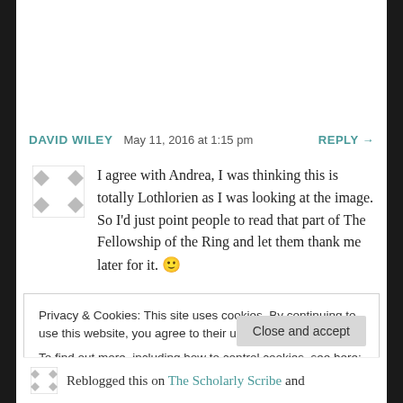DAVID WILEY   May 11, 2016 at 1:15 pm   REPLY →
I agree with Andrea, I was thinking this is totally Lothlorien as I was looking at the image. So I'd just point people to read that part of The Fellowship of the Ring and let them thank me later for it. 🙂
Privacy & Cookies: This site uses cookies. By continuing to use this website, you agree to their use.
To find out more, including how to control cookies, see here: Cookie Policy
Close and accept
Reblogged this on The Scholarly Scribe and